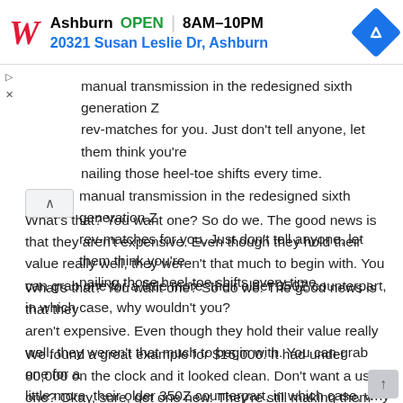[Figure (screenshot): Walgreens advertisement banner showing store location in Ashburn, OPEN 8AM-10PM, address 20321 Susan Leslie Dr, Ashburn, with Walgreens logo and navigation icon]
manual transmission in the redesigned sixth generation Z rev-matches for you. Just don't tell anyone, let them think you're nailing those heel-toe shifts every time.
What's that? You want one? So do we. The good news is that they aren't expensive. Even though they hold their value really well, they weren't that much to begin with. You can grab one for a little more their older 350Z counterpart, in which case, why wouldn't you?
We found a great example for $16,000. It had under 80,000 on the clock and it looked clean. Don't want a used one? Okay, sure, get one new. They're still making them and you can pick one up for $30,000.